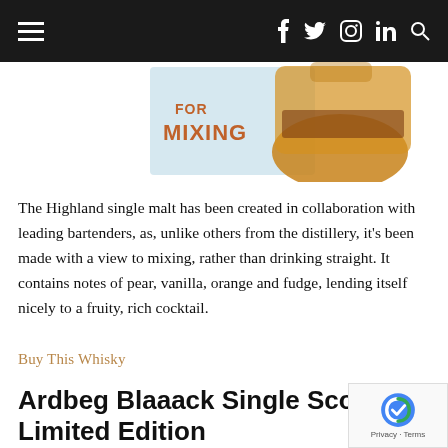≡  f  🐦  📷  in  🔍
[Figure (photo): Partial image of a whisky bottle and a book/label showing 'FOR MIXING' text in orange on a light blue background, with the base of a whisky bottle visible to the right.]
The Highland single malt has been created in collaboration with leading bartenders, as, unlike others from the distillery, it's been made with a view to mixing, rather than drinking straight. It contains notes of pear, vanilla, orange and fudge, lending itself nicely to a fruity, rich cocktail.
Buy This Whisky
Ardbeg Blaaack Single Scotch Limited Edition